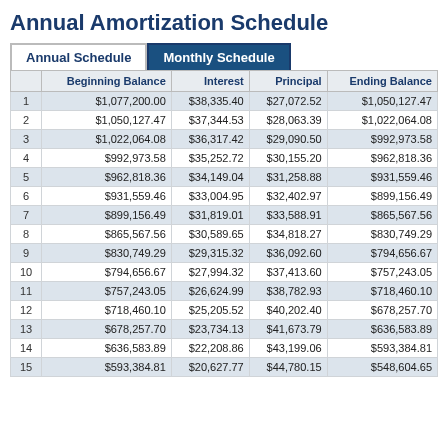Annual Amortization Schedule
|  | Beginning Balance | Interest | Principal | Ending Balance |
| --- | --- | --- | --- | --- |
| 1 | $1,077,200.00 | $38,335.40 | $27,072.52 | $1,050,127.47 |
| 2 | $1,050,127.47 | $37,344.53 | $28,063.39 | $1,022,064.08 |
| 3 | $1,022,064.08 | $36,317.42 | $29,090.50 | $992,973.58 |
| 4 | $992,973.58 | $35,252.72 | $30,155.20 | $962,818.36 |
| 5 | $962,818.36 | $34,149.04 | $31,258.88 | $931,559.46 |
| 6 | $931,559.46 | $33,004.95 | $32,402.97 | $899,156.49 |
| 7 | $899,156.49 | $31,819.01 | $33,588.91 | $865,567.56 |
| 8 | $865,567.56 | $30,589.65 | $34,818.27 | $830,749.29 |
| 9 | $830,749.29 | $29,315.32 | $36,092.60 | $794,656.67 |
| 10 | $794,656.67 | $27,994.32 | $37,413.60 | $757,243.05 |
| 11 | $757,243.05 | $26,624.99 | $38,782.93 | $718,460.10 |
| 12 | $718,460.10 | $25,205.52 | $40,202.40 | $678,257.70 |
| 13 | $678,257.70 | $23,734.13 | $41,673.79 | $636,583.89 |
| 14 | $636,583.89 | $22,208.86 | $43,199.06 | $593,384.81 |
| 15 | $593,384.81 | $20,627.77 | $44,780.15 | $548,604.65 |